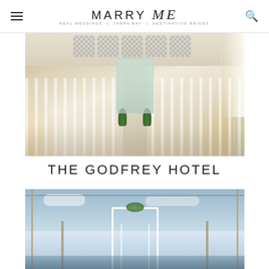MARRY Me | TAMPA BAY
[Figure (photo): Indoor wedding ceremony setup at a bright white venue with high ceilings, rows of white chiavari chairs on both sides of a center aisle, green tropical leaf decorations, warm amber uplighting, and ornate wall grilles in the background.]
THE GODFREY HOTEL
[Figure (photo): Outdoor rooftop or waterfront wedding venue setup at The Godfrey Hotel, featuring a white geometric arch/pergola structure against a blue sky, with string lights overhead and torch-style lights on poles.]